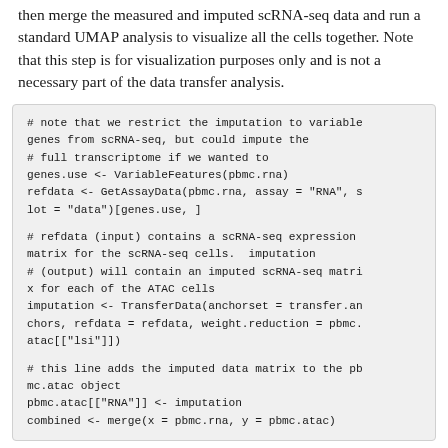then merge the measured and imputed scRNA-seq data and run a standard UMAP analysis to visualize all the cells together. Note that this step is for visualization purposes only and is not a necessary part of the data transfer analysis.
# note that we restrict the imputation to variable genes from scRNA-seq, but could impute the
# full transcriptome if we wanted to
genes.use <- VariableFeatures(pbmc.rna)
refdata <- GetAssayData(pbmc.rna, assay = "RNA", slot = "data")[genes.use, ]

# refdata (input) contains a scRNA-seq expression matrix for the scRNA-seq cells.  imputation
# (output) will contain an imputed scRNA-seq matrix for each of the ATAC cells
imputation <- TransferData(anchorset = transfer.anchors, refdata = refdata, weight.reduction = pbmc.atac[["lsi"]])

# this line adds the imputed data matrix to the pbmc.atac object
pbmc.atac[["RNA"]] <- imputation
combined <- merge(x = pbmc.rna, y = pbmc.atac)